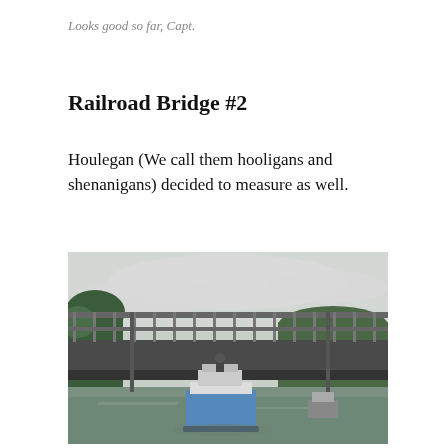Looks good so far, Capt.
Railroad Bridge #2
Houlegan (We call them hooligans and shenanigans) decided to measure as well.
[Figure (photo): A boat on a river passing under a railroad bridge. The bridge has metal railings. Trees are visible on both banks. Overcast sky. A small blue and white boat is visible in the center foreground under the bridge.]